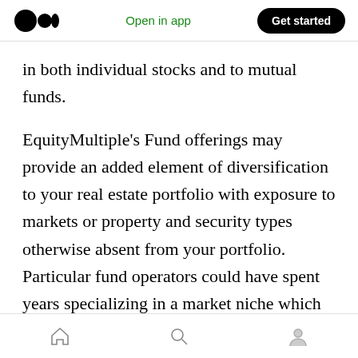Medium logo | Open in app | Get started
in both individual stocks and to mutual funds.
EquityMultiple's Fund offerings may provide an added element of diversification to your real estate portfolio with exposure to markets or property and security types otherwise absent from your portfolio. Particular fund operators could have spent years specializing in a market niche which would make them subject matter experts in making those sector-specific investments. As always, EquityMultiple will offer insight into these competitive advantages on
Home | Search | Profile